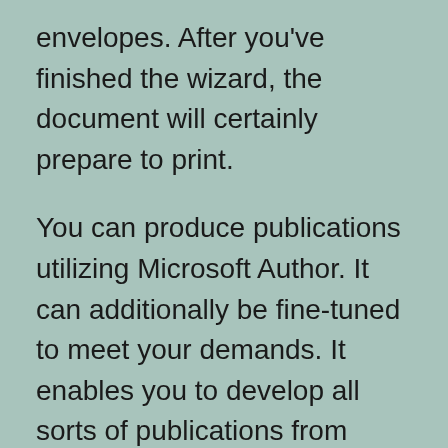envelopes. After you've finished the wizard, the document will certainly prepare to print.
You can produce publications utilizing Microsoft Author. It can additionally be fine-tuned to meet your demands. It enables you to develop all sorts of publications from magazines to magazines. Besides, you can select from templates that can fit your style and budget. The New Magazine job pane gives a number of options for creating different type of publications. It can additionally be made use of to edit PDF files. Moreover, it allows you to modify your documents similarly that you